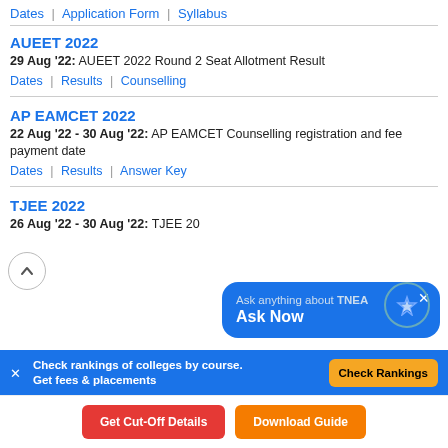Dates | Application Form | Syllabus
AUEET 2022
29 Aug '22: AUEET 2022 Round 2 Seat Allotment Result
Dates | Results | Counselling
AP EAMCET 2022
22 Aug '22 - 30 Aug '22: AP EAMCET Counselling registration and fee payment date
Dates | Results | Answer Key
TJEE 2022
26 Aug '22 - 30 Aug '22: TJEE 20...
Ask anything about TNEA Ask Now
Check rankings of colleges by course. Get fees & placements
Check Rankings
Get Cut-Off Details
Download Guide